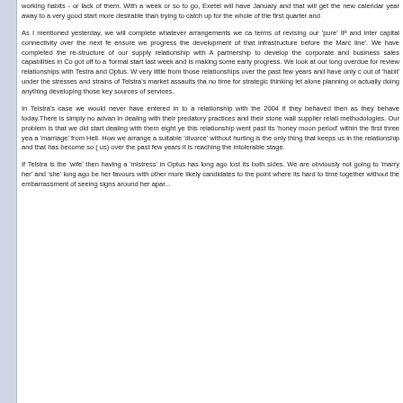working habits - or lack of them. With a week or so to go, Exetel will have January and that will get the new calendar year away to a very good start more desirable than trying to catch up for the whole of the first quarter and
As I mentioned yesterday, we will complete whatever arrangements we ca terms of revising our 'pure' IP and inter capital connectivity over the next fe ensure we progress the development of that infrastructure before the Marc line'. We have completed the re-structure of our supply relationship with A partnership to develop the corporate and business sales capabilities in Co got off to a 'formal start last week and is making some early progress. We look at our long overdue for review relationships with Testra and Optus. W very little from those relationships over the past few years and have only c out of 'habit' under the stresses and strains of Telstra's market assaults tha no time for strategic thinking let alone planning or actually doing anything developing those key sources of services.
In Telstra's case we would never have entered in to a relationship with the 2004 if they behaved then as they behave today.There is simply no advan in dealing with their predatory practices and their stone wall supplier relati methodologies. Our problem is that we did start dealing with them eight ye this relationship went past its 'honey moon period' within the first three yea a 'marriage' from Hell. How we arrange a suitable 'divorce' without hurting is the only thing that keeps us in the relationship and that has become so ( us) over the past few years it is reaching the intolerable stage.
If Telstra is the 'wife' then having a 'mistress' in Optus has long ago lost its both sides. We are obviously not going to 'marry her' and 'she' long ago be her favours with other more likely candidates to the point where its hard to time together without the embarrassment of seeing signs around her apar...